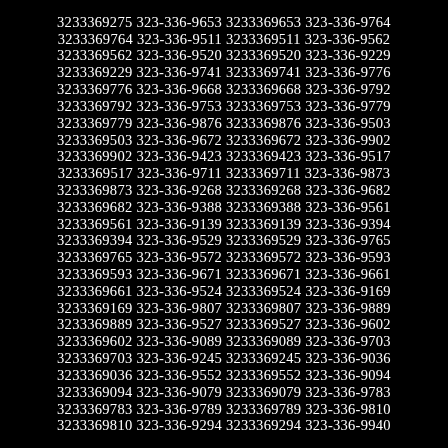3233369275 323-336-9653 3233369653 323-336-9764 3233369764 323-336-9511 3233369511 323-336-9562 3233369562 323-336-9520 3233369520 323-336-9229 3233369229 323-336-9741 3233369741 323-336-9776 3233369776 323-336-9668 3233369668 323-336-9792 3233369792 323-336-9753 3233369753 323-336-9779 3233369779 323-336-9876 3233369876 323-336-9503 3233369503 323-336-9672 3233369672 323-336-9902 3233369902 323-336-9423 3233369423 323-336-9517 3233369517 323-336-9711 3233369711 323-336-9873 3233369873 323-336-9268 3233369268 323-336-9682 3233369682 323-336-9388 3233369388 323-336-9561 3233369561 323-336-9139 3233369139 323-336-9394 3233369394 323-336-9529 3233369529 323-336-9765 3233369765 323-336-9572 3233369572 323-336-9593 3233369593 323-336-9671 3233369671 323-336-9661 3233369661 323-336-9524 3233369524 323-336-9169 3233369169 323-336-9807 3233369807 323-336-9889 3233369889 323-336-9527 3233369527 323-336-9602 3233369602 323-336-9089 3233369089 323-336-9703 3233369703 323-336-9245 3233369245 323-336-9036 3233369036 323-336-9552 3233369552 323-336-9094 3233369094 323-336-9079 3233369079 323-336-9783 3233369783 323-336-9789 3233369789 323-336-9810 3233369810 323-336-9294 3233369294 323-336-9940